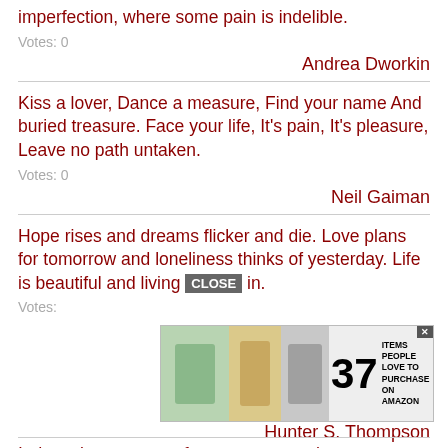imperfection, where some pain is indelible.
Votes: 0
Andrea Dworkin
Kiss a lover, Dance a measure, Find your name And buried treasure. Face your life, It's pain, It's pleasure, Leave no path untaken.
Votes: 0
Neil Gaiman
Hope rises and dreams flicker and die. Love plans for tomorrow and loneliness thinks of yesterday. Life is beautiful and living is pain.
Votes: 0
Hunter S. Thompson
It doesn't escape me for one moment that so
[Figure (other): Advertisement banner: 37 Items People Love to Purchase on Amazon, with close button overlay]